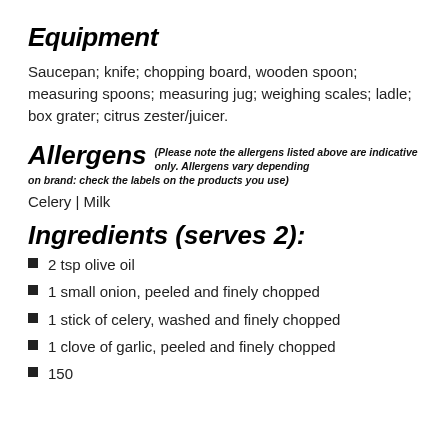Equipment
Saucepan; knife; chopping board, wooden spoon; measuring spoons; measuring jug; weighing scales; ladle; box grater; citrus zester/juicer.
Allergens (Please note the allergens listed above are indicative only. Allergens vary depending on brand: check the labels on the products you use)
Celery | Milk
Ingredients (serves 2):
2 tsp olive oil
1 small onion, peeled and finely chopped
1 stick of celery, washed and finely chopped
1 clove of garlic, peeled and finely chopped
150g...